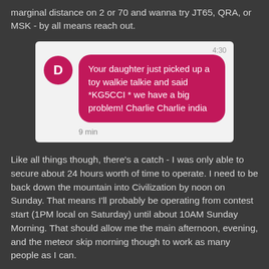marginal distance on 2 or 70 and wanna try JT65, QRA, or MSK - by all means reach out.
[Figure (screenshot): A smartphone messaging app screenshot showing a message bubble: 'Your daughter just picked up a toy walkie talkie and said *KG5CCI * we have a big problem! Charlie Charlie india'. The sender avatar is a pink circle with letter D. Timestamp shows 4:30 and 9 min.]
Like all things though, there's a catch - I was only able to secure about 24 hours worth of time to operate. I need to be back down the mountain into Civilization by noon on Sunday. That means I'll probably be operating from contest start (1PM local on Saturday) until about 10AM Sunday Morning. That should allow me the main afternoon, evening, and the meteor skip morning though to work as many people as I can.